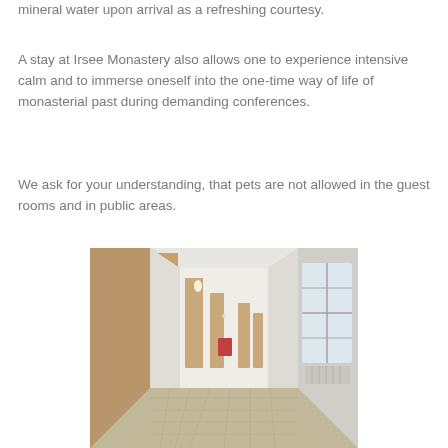mineral water upon arrival as a refreshing courtesy.
A stay at Irsee Monastery also allows one to experience intensive calm and to immerse oneself into the one-time way of life of monasterial past during demanding conferences.
We ask for your understanding, that pets are not allowed in the guest rooms and in public areas.
[Figure (photo): Interior corridor of Irsee Monastery showing a long hallway with white walls, wooden doors on the left, large windows on the right, stone-tiled floor, and a red artwork visible at the far end.]